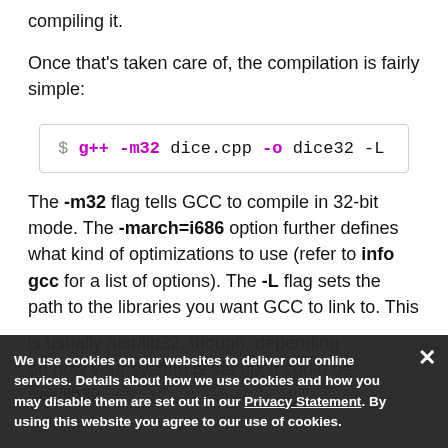compiling it.
Once that's taken care of, the compilation is fairly simple:
$ g++ -m32 dice.cpp -o dice32 -L
The -m32 flag tells GCC to compile in 32-bit mode. The -march=i686 option further defines what kind of optimizations to use (refer to info gcc for a list of options). The -L flag sets the path to the libraries you want GCC to link to. This is usually /usr/lib32, though, depending on how your system is set up, it could be /usr/lib32. By using this website you agree to our use of cookies.
We use cookies on our websites to deliver our online services. Details about how we use cookies and how you may disable them are set out in our Privacy Statement. By using this website you agree to our use of cookies.